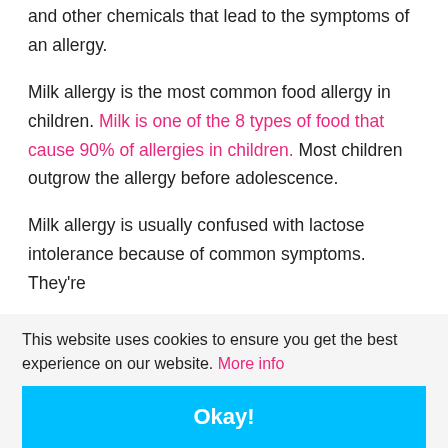and other chemicals that lead to the symptoms of an allergy.
Milk allergy is the most common food allergy in children. Milk is one of the 8 types of food that cause 90% of allergies in children. Most children outgrow the allergy before adolescence.
Milk allergy is usually confused with lactose intolerance because of common symptoms. They’re
This website uses cookies to ensure you get the best experience on our website. More info
Okay!